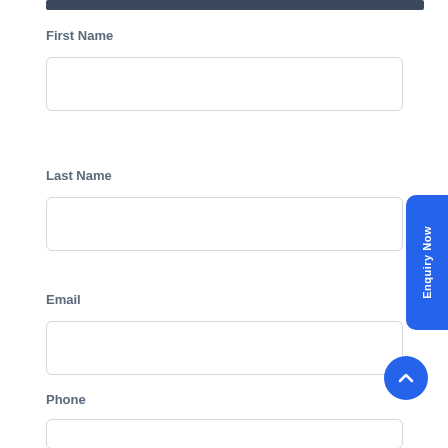First Name
[Figure (other): Empty text input field for First Name]
Last Name
[Figure (other): Empty text input field for Last Name]
Email
[Figure (other): Empty text input field for Email]
Phone
[Figure (other): Empty text input field for Phone]
[Figure (other): Blue vertical Enquiry Now button on right side]
[Figure (other): Blue circular scroll-to-top button with chevron]